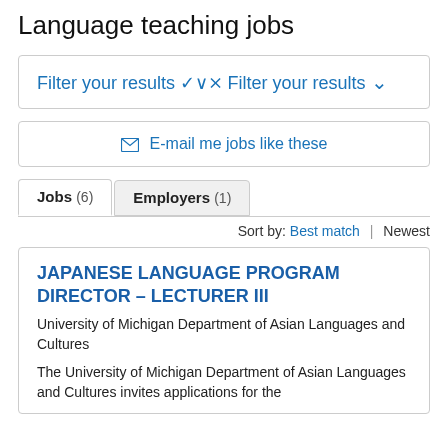Language teaching jobs
Filter your results ∨
✉ E-mail me jobs like these
Jobs (6)   Employers (1)
Sort by: Best match | Newest
JAPANESE LANGUAGE PROGRAM DIRECTOR – LECTURER III
University of Michigan Department of Asian Languages and Cultures
The University of Michigan Department of Asian Languages and Cultures invites applications for the